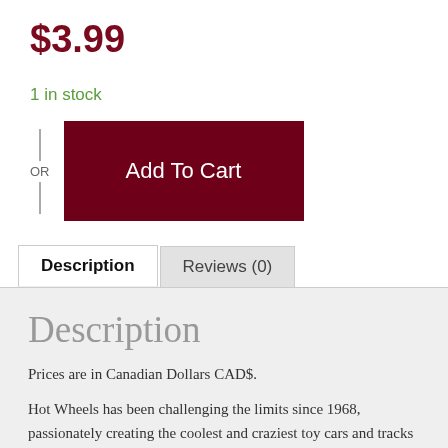$3.99
1 in stock
— OR —  Add To Cart
Description
Reviews (0)
Description
Prices are in Canadian Dollars CAD$.
Hot Wheels has been challenging the limits since 1968, passionately creating the coolest and craziest toy cars and tracks for non-stop fun. Hot Wheels evolved from a line of 16 die-cast cars into a global lifestyle brand dedicated to fast action and over-the-top, epic stunts. Today, the line provides